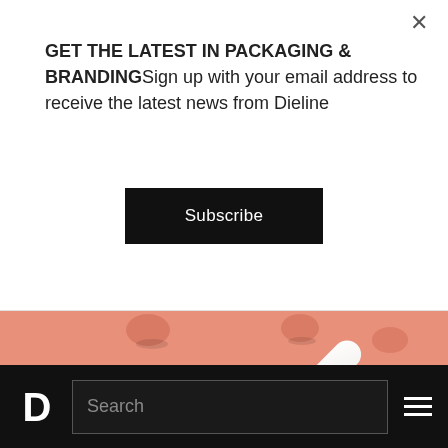GET THE LATEST IN PACKAGING & BRANDINGSign up with your email address to receive the latest news from Dieline
Subscribe
[Figure (photo): A coral/salmon-pink background with an orange-to-yellow gradient cosmetic tube (sunscreen or similar product) lying diagonally, surrounded by scattered round peach-colored pill or candy shapes casting soft shadows.]
BEAUTY & HEALTH PACKAGING
D  Search  ≡